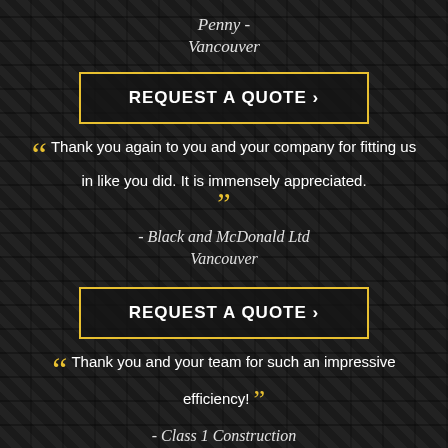Penny - Vancouver
REQUEST A QUOTE ›
" Thank you again to you and your company for fitting us in like you did. It is immensely appreciated. "
- Black and McDonald Ltd Vancouver
REQUEST A QUOTE ›
" Thank you and your team for such an impressive efficiency! "
- Class 1 Construction